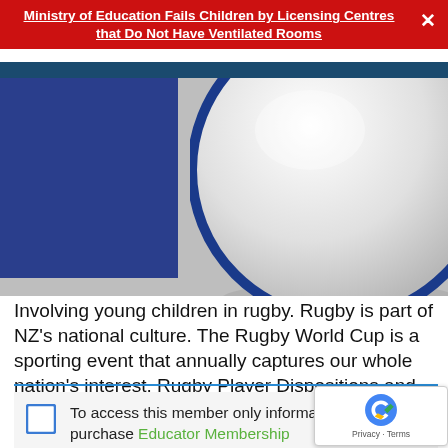Ministry of Education Fails Children by Licensing Centres that Do Not Have Ventilated Rooms
[Figure (photo): Partial view of a white ceramic bowl with blue rim, alongside a dark blue rectangle, on a grey background]
Involving young children in rugby. Rugby is part of NZ's national culture. The Rugby World Cup is a sporting event that annually captures our whole nation's interest. Rugby Player Dispositions and Attributes and Te Whāriki Involving children in watching games [...]
To access this member only information, you must purchase Educator Membership